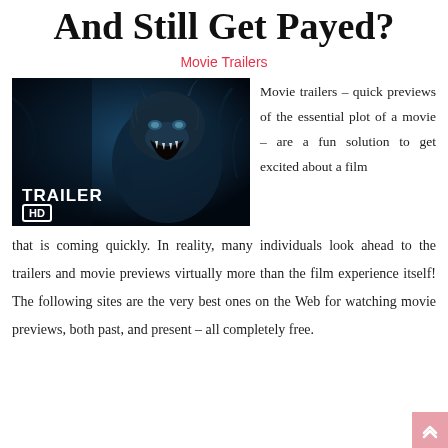And Still Get Payed?
Movie Trailers
[Figure (photo): Movie trailer thumbnail showing a beast-like creature roaring, with 'TRAILER HD' text overlay, dark blue toned image]
Movie trailers – quick previews of the essential plot of a movie – are a fun solution to get excited about a film that is coming quickly. In reality, many individuals look ahead to the trailers and movie previews virtually more than the film experience itself! The following sites are the very best ones on the Web for watching movie previews, both past, and present – all completely free.